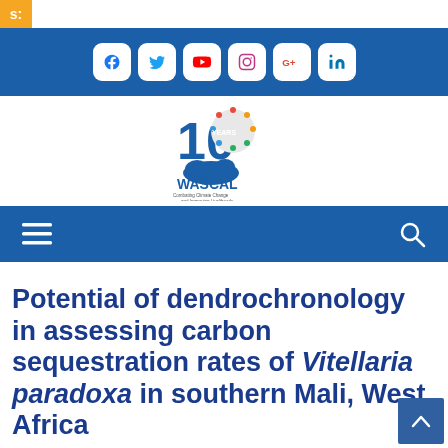s:
[Figure (logo): Social media icons bar: Facebook, Twitter, YouTube, Instagram, Google+, LinkedIn on blue background]
[Figure (logo): WASCAL 10 Years logo - Combating Climate Change and Improving Livelihoods]
[Figure (other): Navigation bar with hamburger menu and search icon on blue background]
Potential of dendrochronology in assessing carbon sequestration rates of Vitellaria paradoxa in southern Mali, West Africa